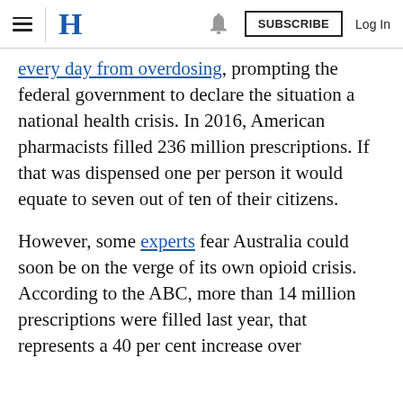≡ H [bell] SUBSCRIBE Log In
every day from overdosing, prompting the federal government to declare the situation a national health crisis. In 2016, American pharmacists filled 236 million prescriptions. If that was dispensed one per person it would equate to seven out of ten of their citizens.
However, some experts fear Australia could soon be on the verge of its own opioid crisis. According to the ABC, more than 14 million prescriptions were filled last year, that represents a 40 per cent increase over